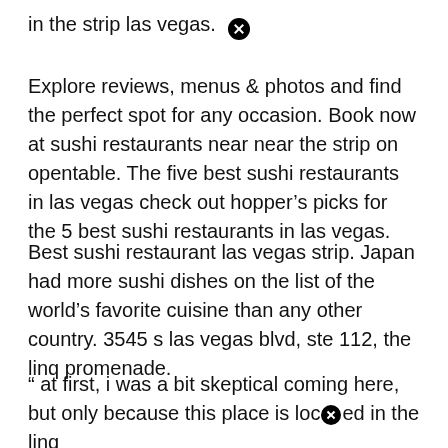in the strip las vegas.
Explore reviews, menus & photos and find the perfect spot for any occasion. Book now at sushi restaurants near near the strip on opentable. The five best sushi restaurants in las vegas check out hopper's picks for the 5 best sushi restaurants in las vegas.
Best sushi restaurant las vegas strip. Japan had more sushi dishes on the list of the world's favorite cuisine than any other country. 3545 s las vegas blvd, ste 112, the linq promenade.
“ at first, i was a bit skeptical coming here, but only because this place is located in the linq